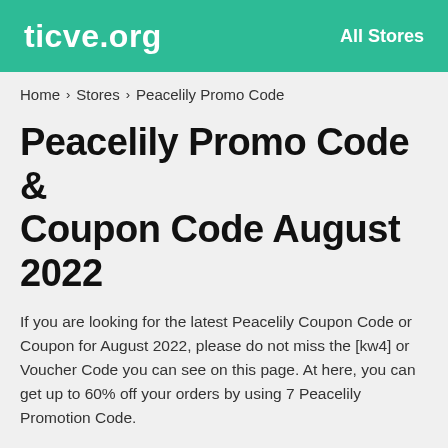ticve.org   All Stores
Home > Stores > Peacelily Promo Code
Peacelily Promo Code & Coupon Code August 2022
If you are looking for the latest Peacelily Coupon Code or Coupon for August 2022, please do not miss the [kw4] or Voucher Code you can see on this page. At here, you can get up to 60% off your orders by using 7 Peacelily Promotion Code.
ALL   DEAL
Machine Washable Organic Mattress Protector For Only $279